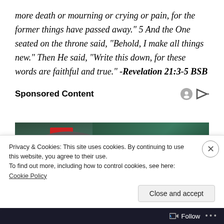more death or mourning or crying or pain, for the former things have passed away." 5 And the One seated on the throne said, "Behold, I make all things new." Then He said, "Write this down, for these words are faithful and true." -Revelation 21:3-5 BSB
Sponsored Content
[Figure (photo): Two people sitting in stadium seats, man with sunglasses on left, woman with sunglasses on right, with green stadium seats visible in background]
Privacy & Cookies: This site uses cookies. By continuing to use this website, you agree to their use.
To find out more, including how to control cookies, see here: Cookie Policy
Close and accept
Follow ...